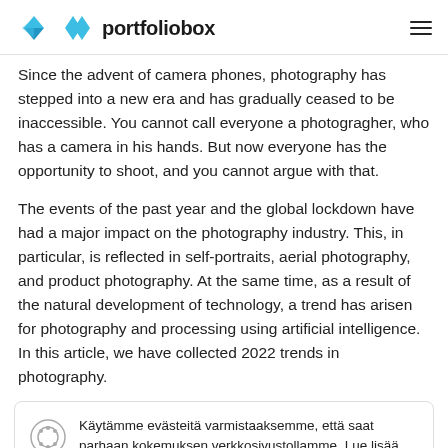portfoliobox
Since the advent of camera phones, photography has stepped into a new era and has gradually ceased to be inaccessible. You cannot call everyone a photogragher, who has a camera in his hands. But now everyone has the opportunity to shoot, and you cannot argue with that.
The events of the past year and the global lockdown have had a major impact on the photography industry. This, in particular, is reflected in self-portraits, aerial photography, and product photography. At the same time, as a result of the natural development of technology, a trend has arisen for photography and processing using artificial intelligence. In this article, we have collected 2022 trends in photography.
Käytämme evästeitä varmistaaksemme, että saat parhaan kokemuksen verkkosivustollamme. Lue lisää
Hyväksy